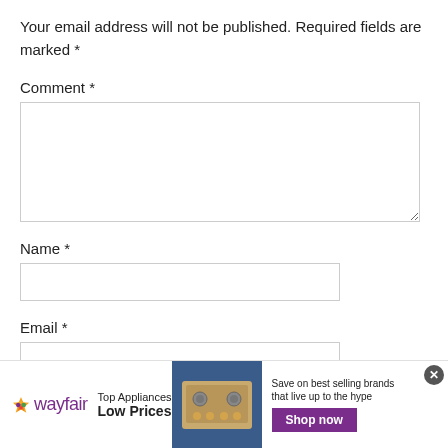Your email address will not be published. Required fields are marked *
Comment *
Name *
Email *
[Figure (screenshot): Wayfair advertisement banner: Top Appliances Low Prices, image of stove, Save on best selling brands that live up to the hype, Shop now button]